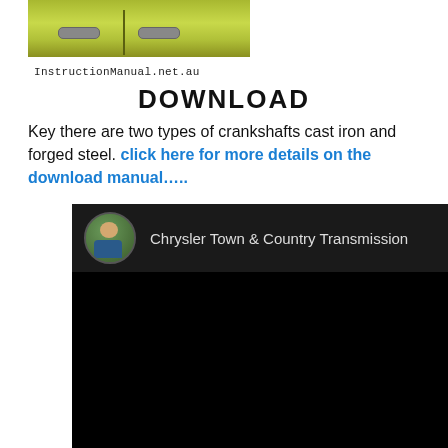[Figure (photo): Partial view of a green/yellow car door panel showing two door handles]
InstructionManual.net.au
DOWNLOAD
Key there are two types of crankshafts cast iron and forged steel. click here for more details on the download manual…..
[Figure (screenshot): YouTube video thumbnail/player showing Chrysler Town & Country Transmission video with circular avatar of a person holding something, on a black background]